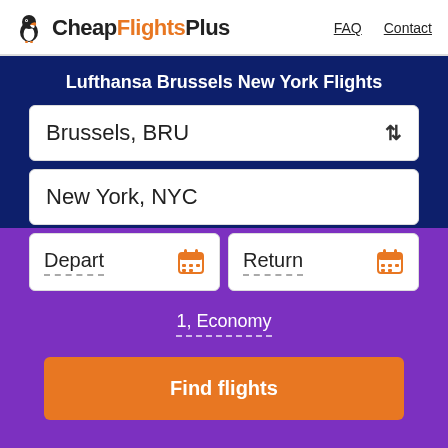CheapFlightsPlus  FAQ  Contact
Lufthansa Brussels New York Flights
Brussels, BRU
New York, NYC
Depart
Return
1, Economy
Find flights